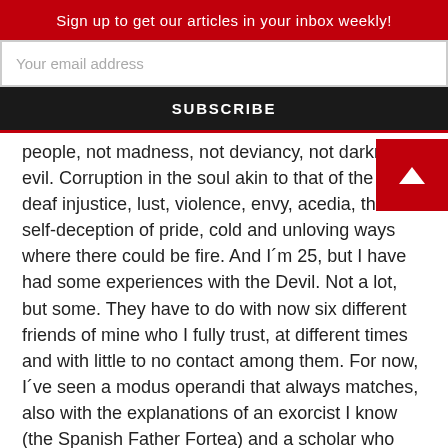Sign up to get our articles in your inbox weekly!
Your email address
SUBSCRIBE
people, not madness, not deviancy, not darkness, evil. Corruption in the soul akin to that of the body, deaf injustice, lust, violence, envy, acedia, the sad self-deception of pride, cold and unloving ways where there could be fire. And I´m 25, but I have had some experiences with the Devil. Not a lot, but some. They have to do with now six different friends of mine who I fully trust, at different times and with little to no contact among them. For now, I´ve seen a modus operandi that always matches, also with the explanations of an exorcist I know (the Spanish Father Fortea) and a scholar who does research in the matter in my University, the tales of the saints about the matter, some Biblical references (specially the Gospels